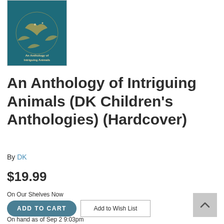[Figure (illustration): Book cover for An Anthology of Intriguing Animals — teal/dark cyan background with golden illustrated animals and foliage]
An Anthology of Intriguing Animals (DK Children's Anthologies) (Hardcover)
By DK
$19.99
On Our Shelves Now
ADD TO CART
Add to Wish List
On hand as of Sep 2 9:03pm